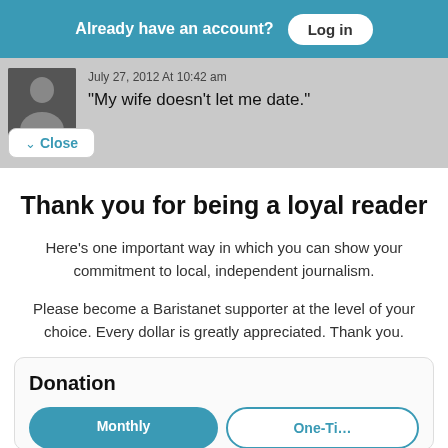Already have an account? Log in
July 27, 2012 At 10:42 am
“My wife doesn’t let me date.”
∨ Close
Thank you for being a loyal reader
Here’s one important way in which you can show your commitment to local, independent journalism.
Please become a Baristanet supporter at the level of your choice. Every dollar is greatly appreciated. Thank you.
Donation
Monthly  One-Ti...